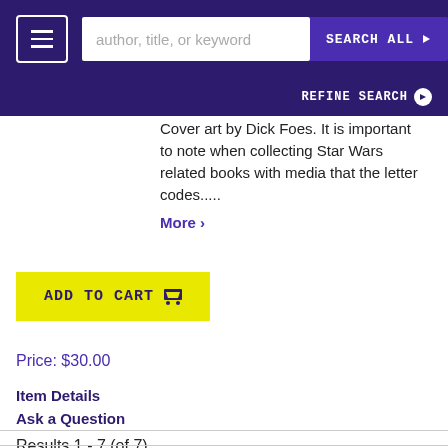author, title, or keyword | SEARCH ALL | REFINE SEARCH
Cover art by Dick Foes. It is important to note when collecting Star Wars related books with media that the letter codes.....
More >
ADD TO CART
Price: $30.00
Item Details
Ask a Question
Results 1 - 7 (of 7)